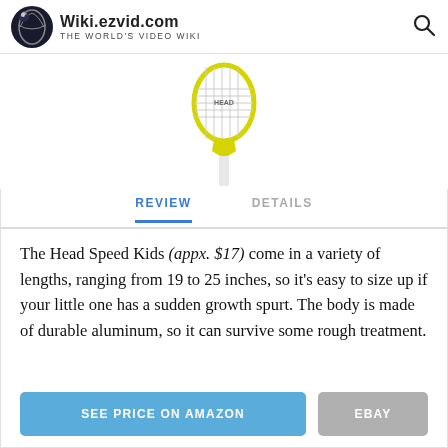Wiki.ezvid.com – The World's Video Wiki
[Figure (photo): A yellow and white Head Speed Kids tennis racket shown vertically from above]
REVIEW | DETAILS
The Head Speed Kids (appx. $17) come in a variety of lengths, ranging from 19 to 25 inches, so it's easy to size up if your little one has a sudden growth spurt. The body is made of durable aluminum, so it can survive some rough treatment.
SEE PRICE ON AMAZON
EBAY